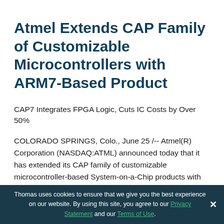Atmel Extends CAP Family of Customizable Microcontrollers with ARM7-Based Product
CAP7 Integrates FPGA Logic, Cuts IC Costs by Over 50%
COLORADO SPRINGS, Colo., June 25 /-- Atmel(R) Corporation (NASDAQ:ATML) announced today that it has extended its CAP family of customizable microcontroller-based System-on-a-Chip products with an ARM7 core. The
Thomas uses cookies to ensure that we give you the best experience on our website. By using this site, you agree to our Privacy Statement and our Terms of Use.